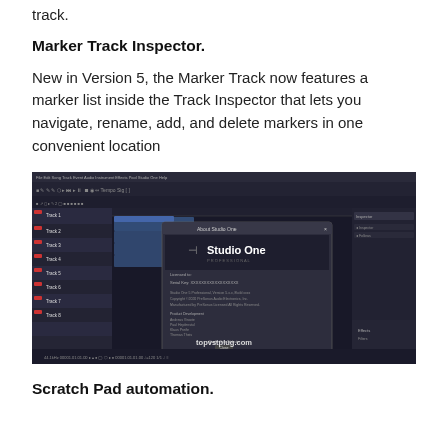track.
Marker Track Inspector.
New in Version 5, the Marker Track now features a marker list inside the Track Inspector that lets you navigate, rename, add, and delete markers in one convenient location
[Figure (screenshot): Screenshot of Studio One DAW software showing the main interface with a dark theme, multiple tracks in the arrangement view, and an 'About Studio One' dialog box open in the center displaying the Studio One logo and version information. The watermark 'topvstplug.com' is visible at the bottom of the screenshot.]
Scratch Pad automation.